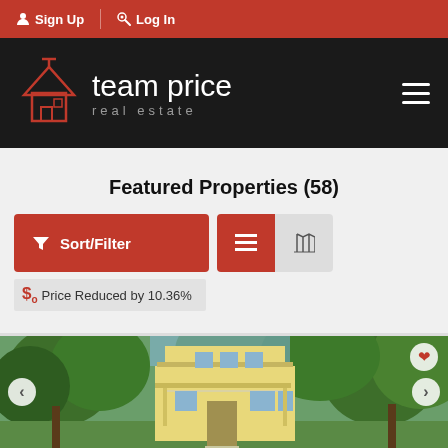Sign Up  Log In
[Figure (logo): Team Price Real Estate logo — house icon outline in red on black background with text 'team price real estate']
Featured Properties (58)
Sort/Filter  [list view button]  [map view button]
Price Reduced by 10.36%
[Figure (photo): Exterior photo of a yellow two-story modern house surrounded by large oak trees, with a covered porch area. Navigation arrows on left and right sides, heart/favorite icon in top right.]